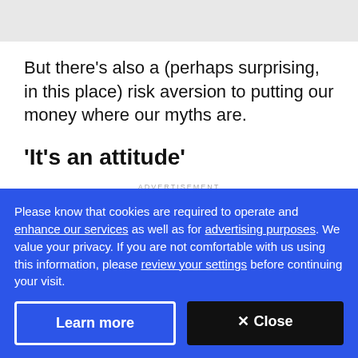But there's also a (perhaps surprising, in this place) risk aversion to putting our money where our myths are.
'It's an attitude'
ADVERTISEMENT
Please know that cookies are required to operate and enhance our services as well as for advertising purposes. We value your privacy. If you are not comfortable with us using this information, please review your settings before continuing your visit.